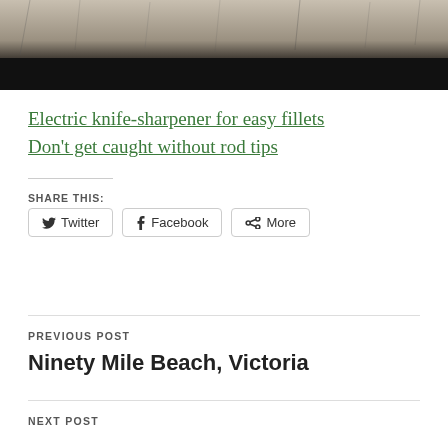[Figure (photo): Partial photo of a rocky or bark-textured surface fading to black at the bottom]
Electric knife-sharpener for easy fillets
Don't get caught without rod tips
SHARE THIS:
Twitter  Facebook  More
PREVIOUS POST
Ninety Mile Beach, Victoria
NEXT POST